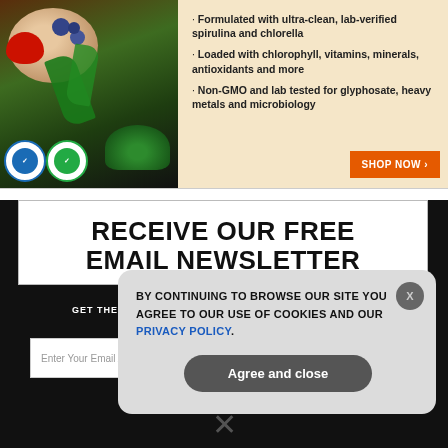[Figure (photo): Advertisement banner with spirulina and chlorella supplement product. Left side shows colorful fruits, vegetables and green powder with certification badges. Right side has bullet points and Shop Now button on a cream/tan background.]
Formulated with ultra-clean, lab-verified spirulina and chlorella
Loaded with chlorophyll, vitamins, minerals, antioxidants and more
Non-GMO and lab tested for glyphosate, heavy metals and microbiology
RECEIVE OUR FREE EMAIL NEWSLETTER
GET THE WORLD'S BEST NATURAL HEALTH NEWSLETTER DELIVERED STRAIGHT TO YOUR INBOX
Enter Your Email Address
SUBSCRIBE
BY CONTINUING TO BROWSE OUR SITE YOU AGREE TO OUR USE OF COOKIES AND OUR PRIVACY POLICY.
Agree and close